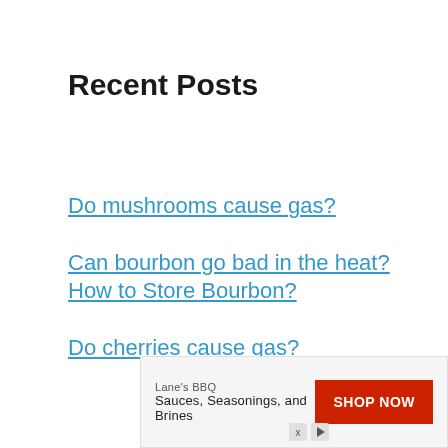Recent Posts
Do mushrooms cause gas?
Can bourbon go bad in the heat? How to Store Bourbon?
Do cherries cause gas?
[Figure (other): Advertisement banner for Lane's BBQ Sauces, Seasonings, and Brines with a red SHOP NOW button and ad icons]